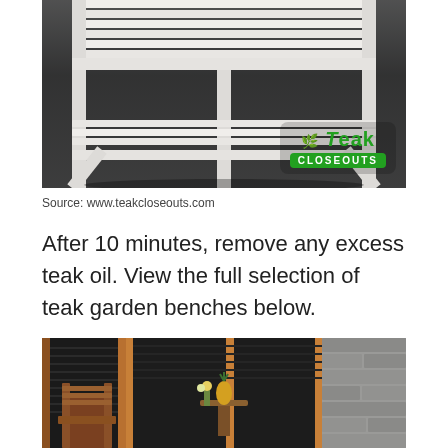[Figure (photo): White painted teak garden bench/shelf photographed from below on dark floor, with Teak Closeouts logo watermark in lower right corner]
Source: www.teakcloseouts.com
After 10 minutes, remove any excess teak oil. View the full selection of teak garden benches below.
[Figure (photo): Teak garden furniture set with chairs on an outdoor patio with dark window blinds and stone wall in background]